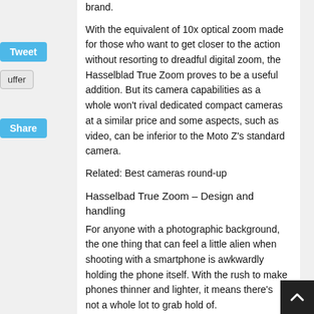brand.
With the equivalent of 10x optical zoom made for those who want to get closer to the action without resorting to dreadful digital zoom, the Hasselblad True Zoom proves to be a useful addition. But its camera capabilities as a whole won't rival dedicated compact cameras at a similar price and some aspects, such as video, can be inferior to the Moto Z's standard camera.
Related: Best cameras round-up
Hasselbad True Zoom – Design and handling
For anyone with a photographic background, the one thing that can feel a little alien when shooting with a smartphone is awkwardly holding the phone itself. With the rush to make phones thinner and lighter, it means there's not a whole lot to grab hold of.